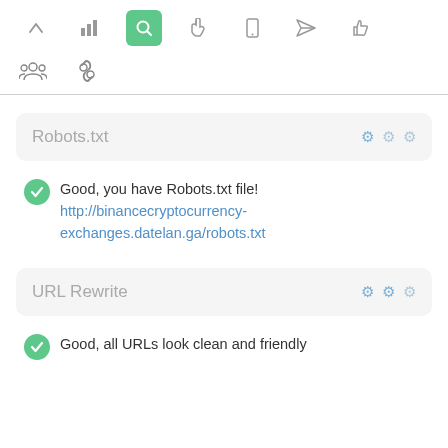[Figure (screenshot): Toolbar with icons: up arrow, bar chart, search (active/green), hand pointer, mobile, paper plane, thumbs up, then second row: people group, chain link]
Robots.txt
Good, you have Robots.txt file! http://binancecryptocurrency-exchanges.datelan.ga/robots.txt
URL Rewrite
Good, all URLs look clean and friendly